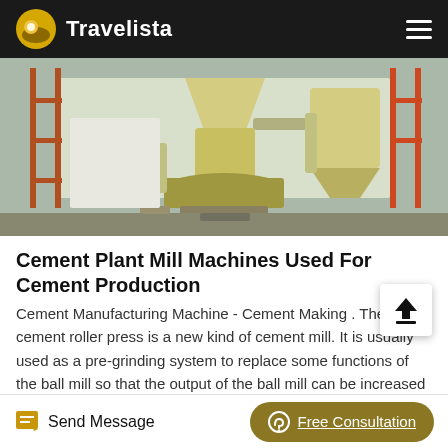Travelista
[Figure (photo): Industrial cement plant mill machinery including a large yellow vertical roller mill/grinding machine with scaffolding and pipes in an industrial setting.]
Cement Plant Mill Machines Used For Cement Production
Cement Manufacturing Machine - Cement Making . The cement roller press is a new kind of cement mill. It is usually used as a pre-grinding system to replace some functions of the ball mill so that the output of the ball mill can be increased by 30-50%. At the same time, it can